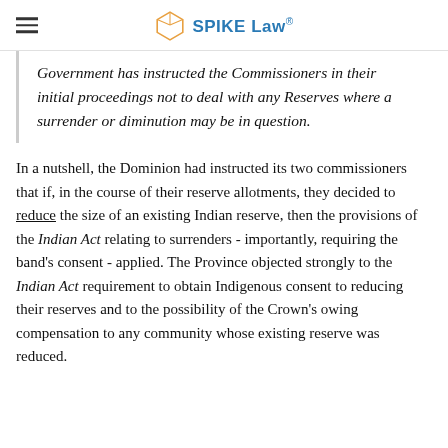SPIKE Law
Government has instructed the Commissioners in their initial proceedings not to deal with any Reserves where a surrender or diminution may be in question.
In a nutshell, the Dominion had instructed its two commissioners that if, in the course of their reserve allotments, they decided to reduce the size of an existing Indian reserve, then the provisions of the Indian Act relating to surrenders - importantly, requiring the band's consent - applied. The Province objected strongly to the Indian Act requirement to obtain Indigenous consent to reducing their reserves and to the possibility of the Crown's owing compensation to any community whose existing reserve was reduced.